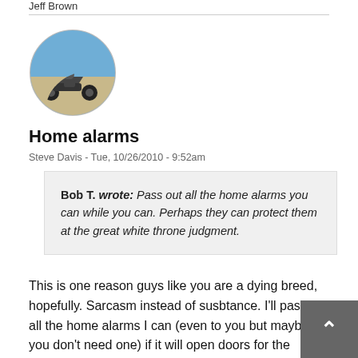Jeff Brown
[Figure (photo): Oval avatar photo of a person on a motorcycle outdoors]
Home alarms
Steve Davis - Tue, 10/26/2010 - 9:52am
Bob T. wrote: Pass out all the home alarms you can while you can. Perhaps they can protect them at the great white throne judgment.
This is one reason guys like you are a dying breed, hopefully. Sarcasm instead of susbtance. I'll pass out all the home alarms I can (even to you but maybe you don't need one) if it will open doors for the gospel in loving my neighbors. I don't know where you live but send me your address. I can use Google maps to see if you need one (or